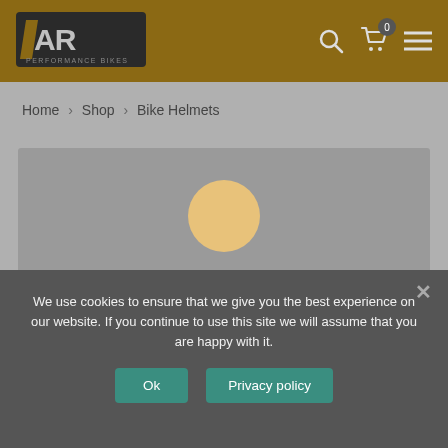[Figure (logo): AR Performance Bikes logo — stylized AR letters on dark background with 'PERFORMANCE BIKES' text below]
Header navigation with search icon, cart (0 items), and menu icon
Home › Shop › Bike Helmets
[Figure (other): Loading spinner — a golden/amber circle on a grey content area background representing a loading state]
We use cookies to ensure that we give you the best experience on our website. If you continue to use this site we will assume that you are happy with it.